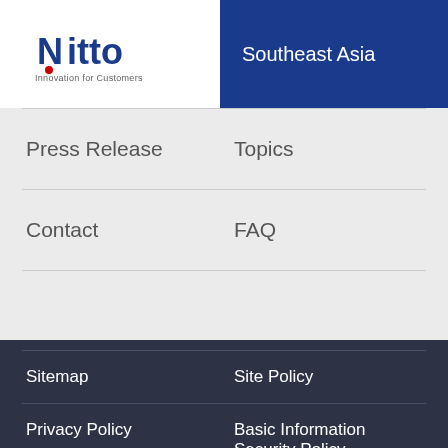Nitto – Innovation for Customers | Southeast Asia
Press Release
Topics
Contact
FAQ
Sitemap
Site Policy
Privacy Policy
Basic Information Security Policy
©NITTO DENKO CORPORATION. 2022 All rights reserved.